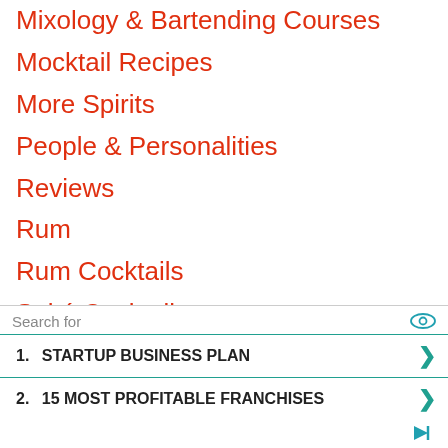Mixology & Bartending Courses
Mocktail Recipes
More Spirits
People & Personalities
Reviews
Rum
Rum Cocktails
Saké Cocktails
Schnapps Cocktails
Seltzer Cocktails
Tequila
Tequila Cocktails
[Figure (screenshot): Advertisement overlay with search bar, eye icon, two rows: '1. STARTUP BUSINESS PLAN' and '2. 15 MOST PROFITABLE FRANCHISES' each with a green chevron arrow, and a small logo at bottom right.]